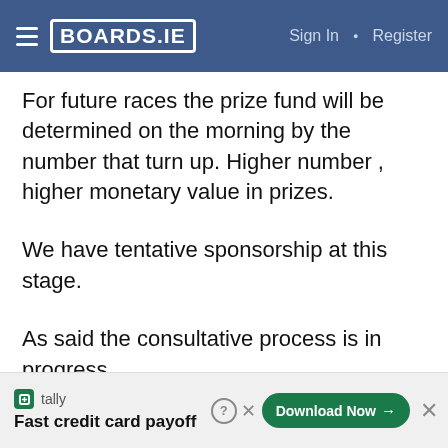BOARDS.IE  Sign In · Register
For future races the prize fund will be determined on the morning by the number that turn up. Higher number , higher monetary value in prizes.
We have tentative sponsorship at this stage.
As said the consultative process is in progress.
@ Paulie We will get organised.
@ Paulie: Dunno if u did Taghmon - Roubaix last year, but we are planning to go ahead this year, and in
[Figure (infographic): Tally app advertisement banner: 'Fast credit card payoff' with a Download Now button]